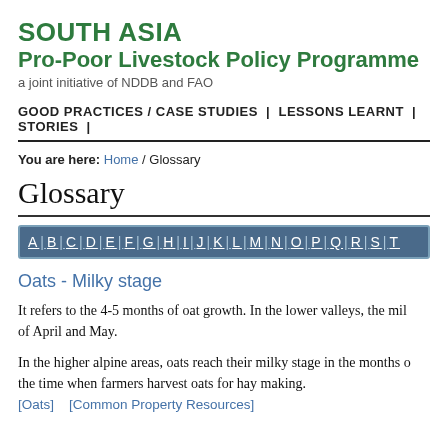SOUTH ASIA
Pro-Poor Livestock Policy Programme
a joint initiative of NDDB and FAO
GOOD PRACTICES / CASE STUDIES | LESSONS LEARNT | STORIES |
You are here: Home / Glossary
Glossary
A | B | C | D | E | F | G | H | I | J | K | L | M | N | O | P | Q | R | S | T
Oats - Milky stage
It refers to the 4-5 months of oat growth. In the lower valleys, the milky stage occurs in the months of April and May.
In the higher alpine areas, oats reach their milky stage in the months of June, July and August. This is the time when farmers harvest oats for hay making.
[Oats]   [Common Property Resources]